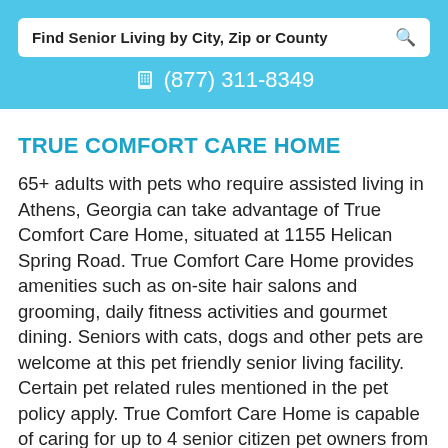Find Senior Living by City, Zip or County
(877) 311-8349
TRUE COMFORT CARE HOME
65+ adults with pets who require assisted living in Athens, Georgia can take advantage of True Comfort Care Home, situated at 1155 Helican Spring Road. True Comfort Care Home provides amenities such as on-site hair salons and grooming, daily fitness activities and gourmet dining. Seniors with cats, dogs and other pets are welcome at this pet friendly senior living facility. Certain pet related rules mentioned in the pet policy apply. True Comfort Care Home is capable of caring for up to 4 senior citizen pet owners from 30601 zip code in Madison county and nearby areas